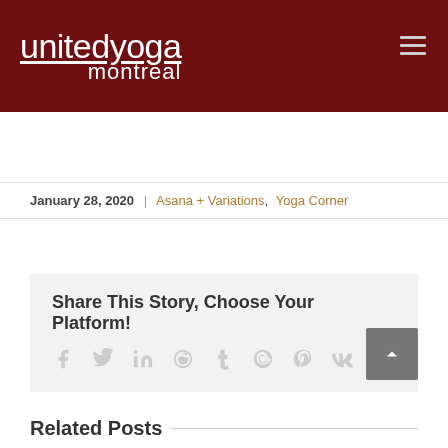[Figure (logo): United Yoga Montreal logo in white text on dark red background with hamburger menu icon]
January 28, 2020 | Asana + Variations, Yoga Corner
Share This Story, Choose Your Platform!
[Figure (infographic): Social sharing icons: Facebook, Twitter, LinkedIn, Reddit, Tumblr, Google+, Pinterest, VK, Email]
Related Posts